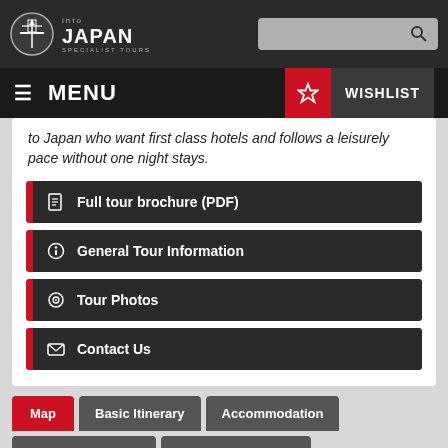into JAPAN Specialist Tours
to Japan who want first class hotels and follows a leisurely pace without one night stays.
Full tour brochure (PDF)
General Tour Information
Tour Photos
Contact Us
Map | Basic Itinerary | Accommodation
Price & Bookings | Full Brochure PDF